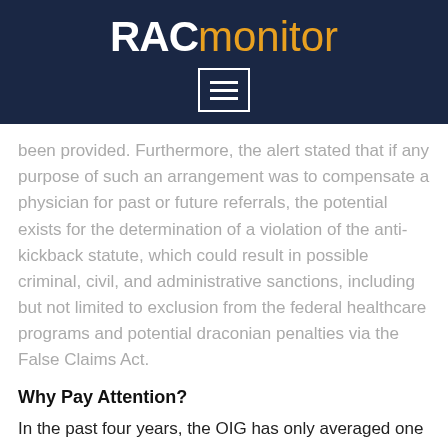RACmonitor
been provided. Furthermore, the alert stated that if any purpose of such an arrangement was to compensate a physician for past or future referrals, the potential exists for the determination of a violation of the anti-kickback statute, which could result in possible criminal, civil, and administrative sanctions, including but not limited to exclusion from the federal healthcare programs and potential draconian penalties via the False Claims Act.
Why Pay Attention?
In the past four years, the OIG has only averaged one fraud alert per year; in fact, since this issuance in June 2015, the OIG has not published any others. In other words, when the OIG issues a fraud alert, it should attract the attention of